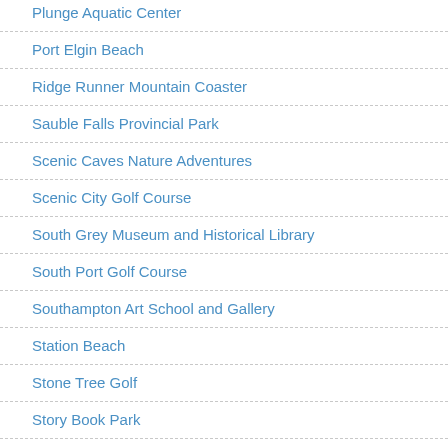Plunge Aquatic Center
Port Elgin Beach
Ridge Runner Mountain Coaster
Sauble Falls Provincial Park
Scenic Caves Nature Adventures
Scenic City Golf Course
South Grey Museum and Historical Library
South Port Golf Course
Southampton Art School and Gallery
Station Beach
Stone Tree Golf
Story Book Park
Thornbury Harbour